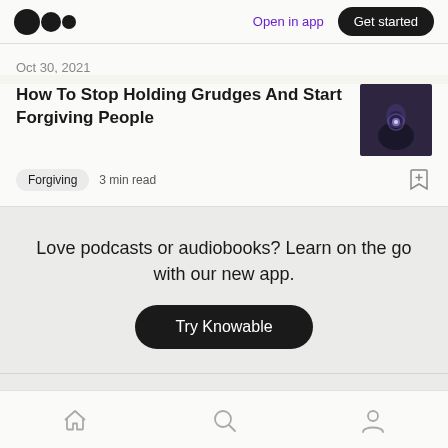Open in app | Get started
Oct 30, 2021
How To Stop Holding Grudges And Start Forgiving People
Forgiving   3 min read
Love podcasts or audiobooks? Learn on the go with our new app.
Try Knowable
Home | Search | Profile